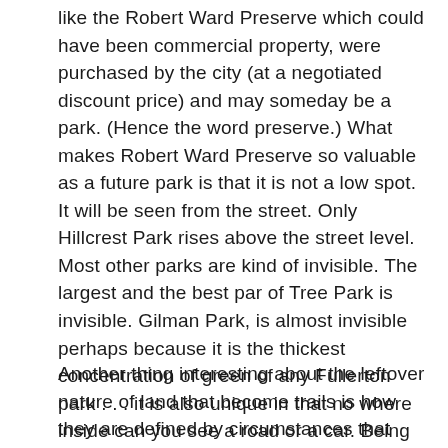like the Robert Ward Preserve which could have been commercial property, were purchased by the city (at a negotiated discount price) and may someday be a park. (Hence the word preserve.) What makes Robert Ward Preserve so valuable as a future park is that it is not a low spot. It will be seen from the street. Only Hillcrest Park rises above the street level. Most other parks are kind of invisible. The largest and the best par of Tree Park is invisible. Gilman Park, is almost invisible perhaps because it is the thickest concentration of green of any Fullerton park . . . it is also unique in that no where inside can you see a road or a car. Being seen can be more important, and worth the higher cost of land at street level of above. The reason: because so many people can experience a moment of green.
Another thing interesting about the leftover nature of land that become trails is how they are defined by circumstances that take place many generations apart.